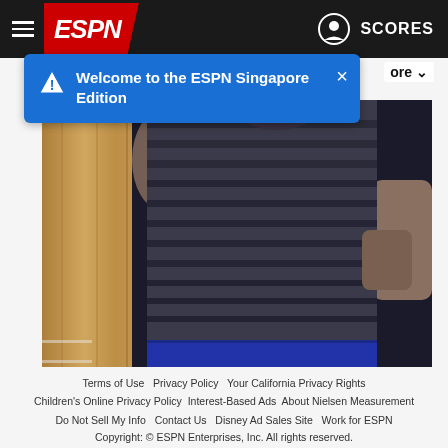[Figure (screenshot): ESPN website navigation bar with hamburger menu, ESPN logo on red background, user icon and SCORES text on dark background]
Welcome to the ESPN Singapore Edition
[Figure (photo): Person wearing a dark grey and black horizontal striped t-shirt and blue shorts, standing against a wooden panel and grey wall background]
Terms of Use  Privacy Policy  Your California Privacy Rights  Children's Online Privacy Policy  Interest-Based Ads  About Nielsen Measurement  Do Not Sell My Info  Contact Us  Disney Ad Sales Site  Work for ESPN  Copyright: © ESPN Enterprises, Inc. All rights reserved.